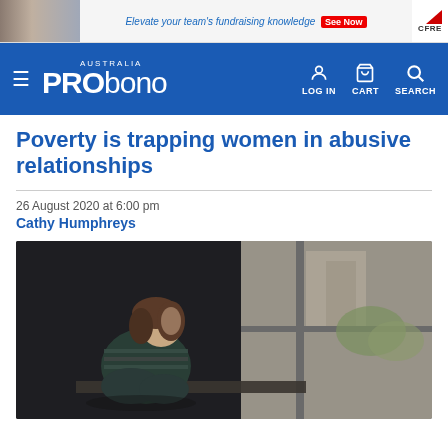[Figure (screenshot): Ad banner with photo of people, text 'Elevate your team's fundraising knowledge', red 'See Now' button, and CFRE logo]
[Figure (screenshot): Pro Bono Australia navigation bar with hamburger menu, PRObono logo, LOG IN, CART, and SEARCH icons]
Poverty is trapping women in abusive relationships
26 August 2020 at 6:00 pm
Cathy Humphreys
[Figure (photo): Woman sitting alone by a window looking out, viewed from behind/side, wearing a striped top, knees drawn up. Dark moody indoor scene with window light showing buildings outside.]